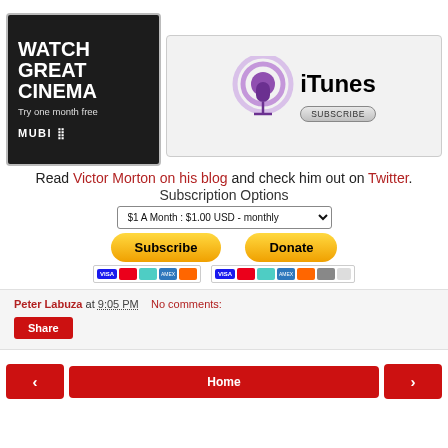[Figure (advertisement): MUBI cinema advertisement: dark background with 'WATCH GREAT CINEMA Try one month free MUBI' text in white]
[Figure (advertisement): iTunes podcast subscription banner with purple podcast icon and 'iTunes SUBSCRIBE' button]
Read Victor Morton on his blog and check him out on Twitter.
Subscription Options
$1 A Month : $1.00 USD - monthly
[Figure (other): Subscribe and Donate PayPal buttons with credit card icons (Visa, Mastercard, Amex, Discover)]
Peter Labuza at 9:05 PM   No comments:
Share
Home